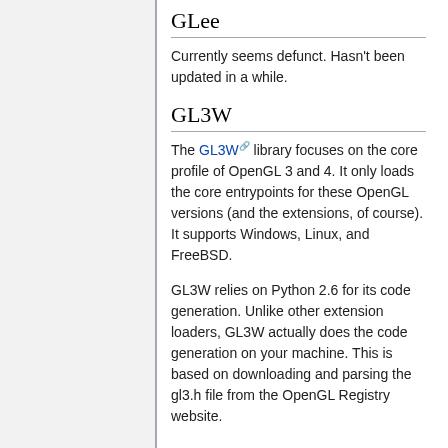GLee
Currently seems defunct. Hasn't been updated in a while.
GL3W
The GL3W library focuses on the core profile of OpenGL 3 and 4. It only loads the core entrypoints for these OpenGL versions (and the extensions, of course). It supports Windows, Linux, and FreeBSD.
GL3W relies on Python 2.6 for its code generation. Unlike other extension loaders, GL3W actually does the code generation on your machine. This is based on downloading and parsing the gl3.h file from the OpenGL Registry website.